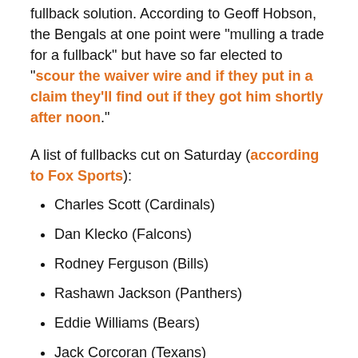fullback solution. According to Geoff Hobson, the Bengals at one point were "mulling a trade for a fullback" but have so far elected to "scour the waiver wire and if they put in a claim they'll find out if they got him shortly after noon".
A list of fullbacks cut on Saturday (according to Fox Sports):
Charles Scott (Cardinals)
Dan Klecko (Falcons)
Rodney Ferguson (Bills)
Rashawn Jackson (Panthers)
Eddie Williams (Bears)
Jack Corcoran (Texans)
Dalloway (Raiders)